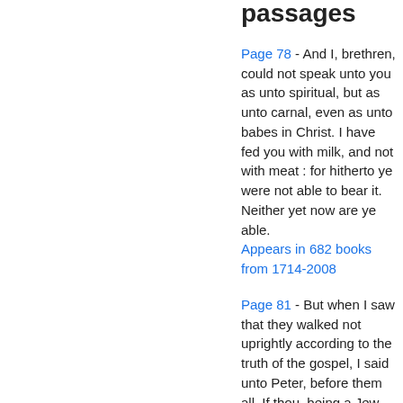passages
Page 78 - And I, brethren, could not speak unto you as unto spiritual, but as unto carnal, even as unto babes in Christ. I have fed you with milk, and not with meat : for hitherto ye were not able to bear it. Neither yet now are ye able. Appears in 682 books from 1714-2008
Page 81 - But when I saw that they walked not uprightly according to the truth of the gospel, I said unto Peter, before them all, If thou, being a Jew, livest after the manner of the Gentiles, and not as